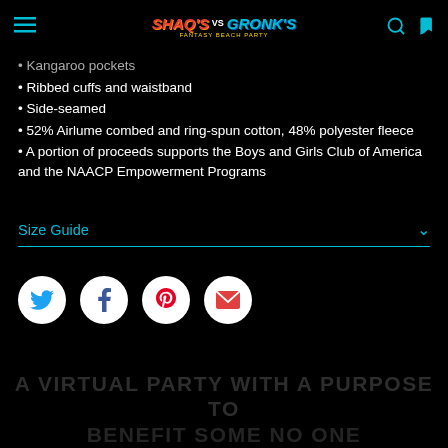Shaq's vs Gronk's (nav bar with hamburger menu, logo, search and cart icons)
Kangaroo pockets
Ribbed cuffs and waistband
Side-seamed
52% Airlume combed and ring-spun cotton, 48% polyester fleece
A portion of proceeds supports the Boys and Girls Club of America and the NAACP Empowerment Programs
Size Guide
[Figure (infographic): Social share buttons row: Twitter (bird icon), Facebook (f icon), Pinterest (P icon), Email (envelope icon) — each in a white circle]
A VIRTUAL PARTY WITH A PURPOSE TO